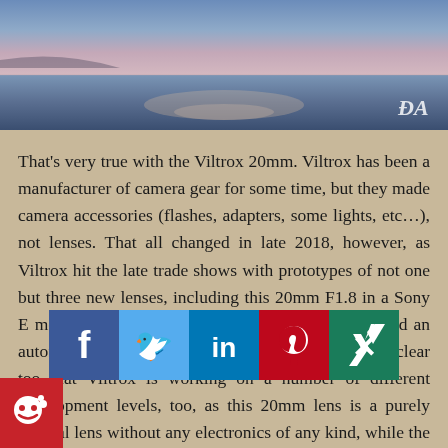[Figure (photo): Landscape/seascape photo with bluish-purple tones showing water and land, with 'ĐA' watermark in lower right]
That's very true with the Viltrox 20mm. Viltrox has been a manufacturer of camera gear for some time, but they made camera accessories (flashes, adapters, some lights, etc…), not lenses. That all changed in late 2018, however, as Viltrox hit the late trade shows with prototypes of not one but three new lenses, including this 20mm F1.8 in a Sony E mount, an additional 85mm F1.8 E-mount lens, and an autofocusing 85mm F1.8 lens for Fuji X-mount. It's clear too that Viltrox is working on a number of different development levels, too, as this 20mm lens is a purely manual lens without any electronics of any kind, while the 85mm E-mount lens is manual fo... ...rture (no aperture ring, but rath... ...vithin the camera), and the Fuji mount 85mm is a full autofocus lenses without any manual contro...side of a MF ring, of course, like any lens).
[Figure (infographic): Social media sharing buttons: Facebook (blue), Twitter (light blue), LinkedIn (dark blue), Pinterest (red), Xing (dark green), Reddit (red) icons]